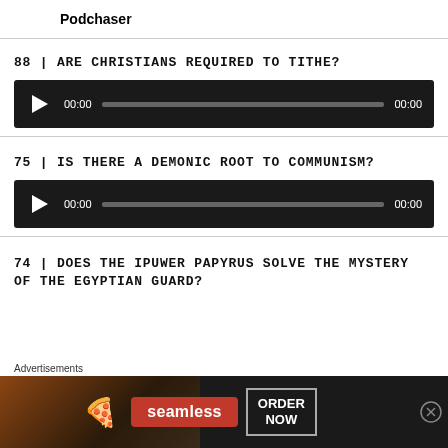Podchaser
88 | ARE CHRISTIANS REQUIRED TO TITHE?
[Figure (other): Audio player with play button, 00:00 timestamp, progress bar, and 00:00 duration]
75 | IS THERE A DEMONIC ROOT TO COMMUNISM?
[Figure (other): Audio player with play button, 00:00 timestamp, progress bar, and 00:00 duration]
74 | DOES THE IPUWER PAPYRUS SOLVE THE MYSTERY OF THE EGYPTIAN GUARD?
[Figure (other): Advertisement banner: Seamless food ordering - ORDER NOW]
Advertisements